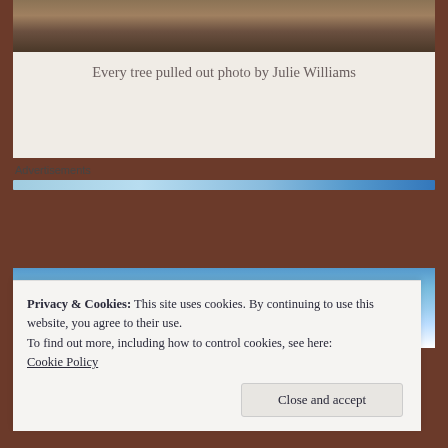[Figure (photo): Top portion of a photo showing dirt and trees pulled out from the ground]
Every tree pulled out photo by Julie Williams
Advertisements
[Figure (photo): Partial view of a photo showing blue sky with clouds]
Privacy & Cookies: This site uses cookies. By continuing to use this website, you agree to their use.
To find out more, including how to control cookies, see here: Cookie Policy
Close and accept